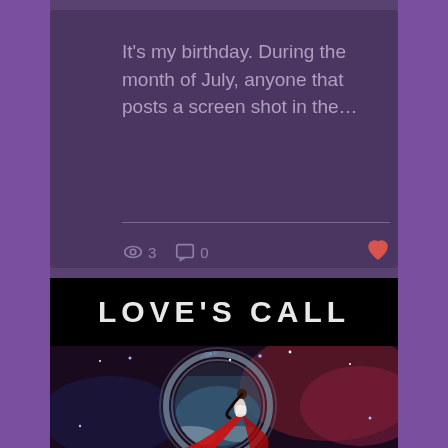It's my birthday. During the month of July, anyone that posts a screen shot in the...
[Figure (screenshot): Post footer with view count (eye icon, 3), comment count (speech bubble icon, 0), and a heart/like icon in red/orange]
[Figure (illustration): Book cover for 'Love's Call' showing a woman in a red flowing dress standing in a circular ornate frame against a cosmic nebula background with stars]